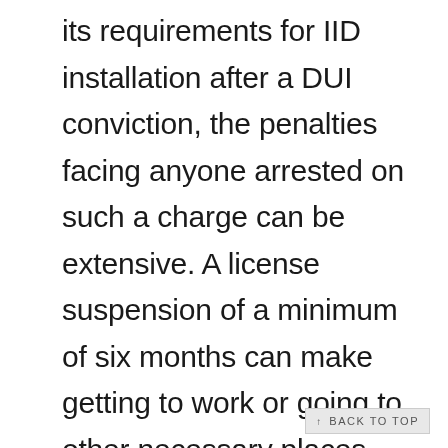its requirements for IID installation after a DUI conviction, the penalties facing anyone arrested on such a charge can be extensive. A license suspension of a minimum of six months can make getting to work or going to other necessary places difficult. Car insurance rates will likely increase, and a previous DUI makes the penalties for any
↑ BACK TO TOP